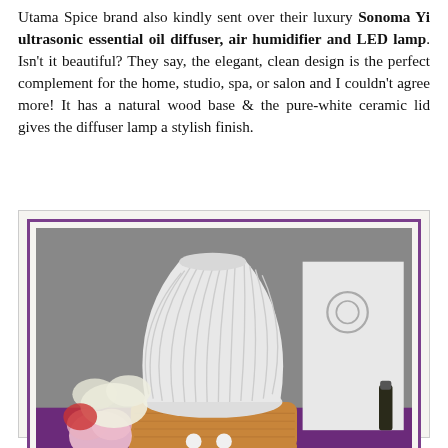Utama Spice brand also kindly sent over their luxury Sonoma Yi ultrasonic essential oil diffuser, air humidifier and LED lamp. Isn't it beautiful? They say, the elegant, clean design is the perfect complement for the home, studio, spa, or salon and I couldn't agree more! It has a natural wood base & the pure-white ceramic lid gives the diffuser lamp a stylish finish.
[Figure (photo): Photo of the Utama Spice Sonoma Yi Aromatherapy Diffuser Lamp — a white ribbed ceramic cone-shaped top on a natural wood base, with flowers and a small essential oil bottle in the background, displayed on a purple surface.]
Utama Spice Sonoma Yi Aromatherapy Diffuser Lamp